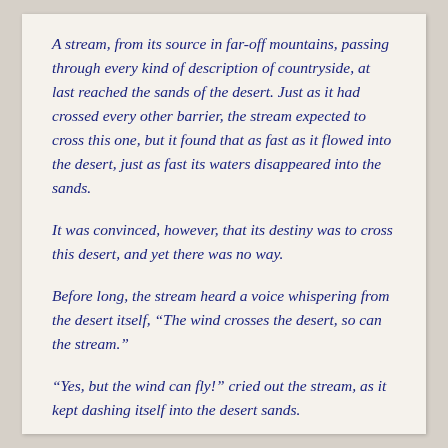A stream, from its source in far-off mountains, passing through every kind of description of countryside, at last reached the sands of the desert. Just as it had crossed every other barrier, the stream expected to cross this one, but it found that as fast as it flowed into the desert, just as fast its waters disappeared into the sands.
It was convinced, however, that its destiny was to cross this desert, and yet there was no way.
Before long, the stream heard a voice whispering from the desert itself, “The wind crosses the desert, so can the stream.”
“Yes, but the wind can fly!” cried out the stream, as it kept dashing itself into the desert sands.